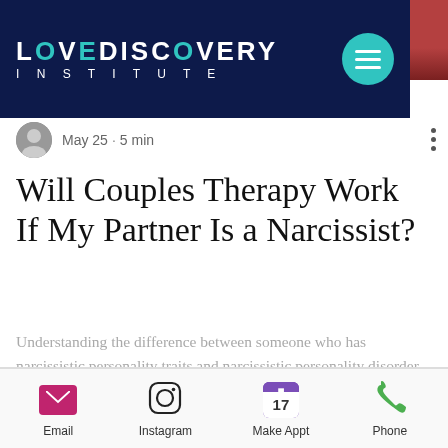LOVEDISCOVERY INSTITUTE
May 25 · 5 min
Will Couples Therapy Work If My Partner Is a Narcissist?
Understanding the difference between someone who has narcissistic personality traits and narcissistic personality disorder – a clinical...
94
Email  Instagram  Make Appt  Phone